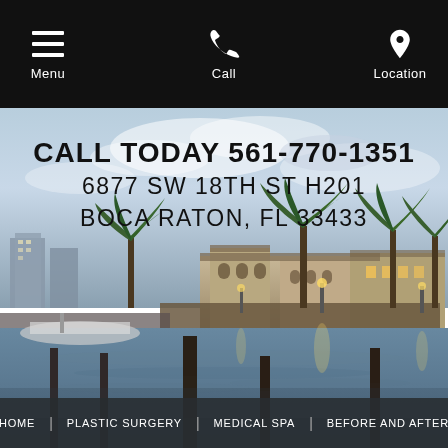Menu | Call | Location
[Figure (photo): Waterfront scene in Boca Raton, Florida, showing a marina with docks, boats, palm trees, and Mediterranean-style buildings against a dusk sky]
CALL TODAY 561-770-1351
6877 SW 18TH ST H201
BOCA RATON, FL 33433
HOME | PLASTIC SURGERY | MEDICAL SPA | BEFORE AND AFTER